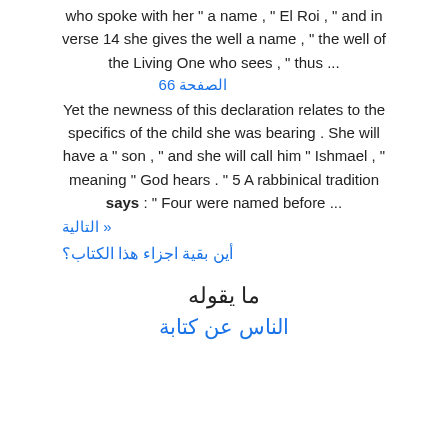who spoke with her " a name , " El Roi , " and in verse 14 she gives the well a name , " the well of the Living One who sees , " thus ...
الصفحة 66
Yet the newness of this declaration relates to the specifics of the child she was bearing . She will have a " son , " and she will call him " Ishmael , " meaning " God hears . " 5 A rabbinical tradition says : " Four were named before ...
« التالية
أين بقية اجزاء هذا الكتاب؟
ما يقوله الناس عن كتابة